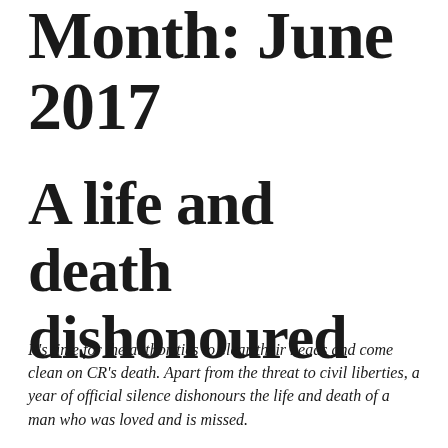Month: June 2017
A life and death dishonoured
It's time for the authorities to clear their heads and come clean on CR's death. Apart from the threat to civil liberties, a year of official silence dishonours the life and death of a man who was loved and is missed.